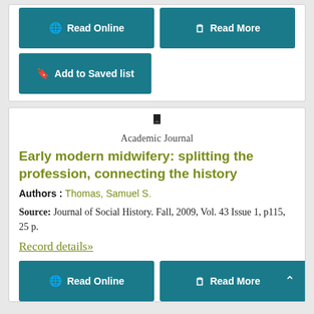Read Online
Read More
Add to Saved list
Academic Journal
Early modern midwifery: splitting the profession, connecting the history
Authors : Thomas, Samuel S.
Source: Journal of Social History. Fall, 2009, Vol. 43 Issue 1, p115, 25 p.
Record details»
Read Online
Read More